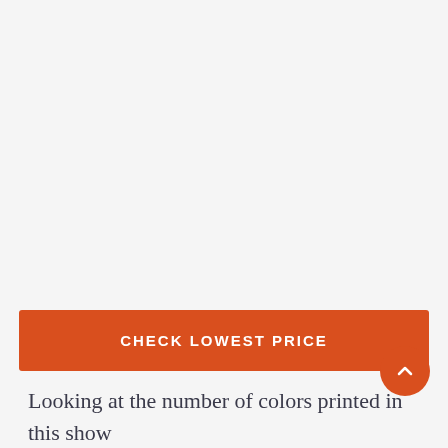[Figure (other): Orange 'CHECK LOWEST PRICE' button]
Looking at the number of colors printed in this shower curtain, we know that this unique shower curtain will be